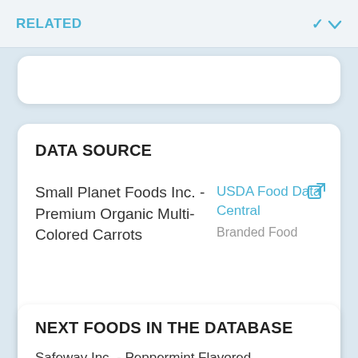RELATED
DATA SOURCE
Small Planet Foods Inc. - Premium Organic Multi-Colored Carrots
USDA Food Data Central
Branded Food
NEXT FOODS IN THE DATABASE
Safeway Inc. - Peppermint Flavored